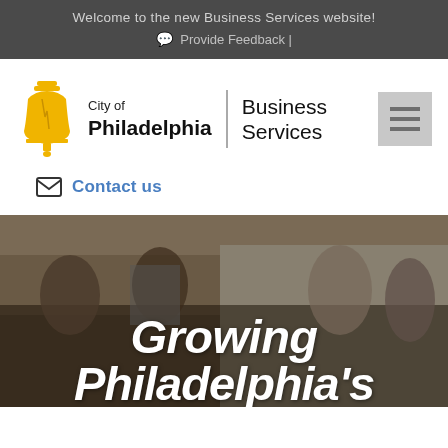Welcome to the new Business Services website!
💬 Provide Feedback |
[Figure (logo): City of Philadelphia Business Services logo with yellow Liberty Bell icon]
✉ Contact us
[Figure (photo): Overhead photo of people gathered, with text overlay reading: Growing Philadelphia's]
Growing Philadelphia's